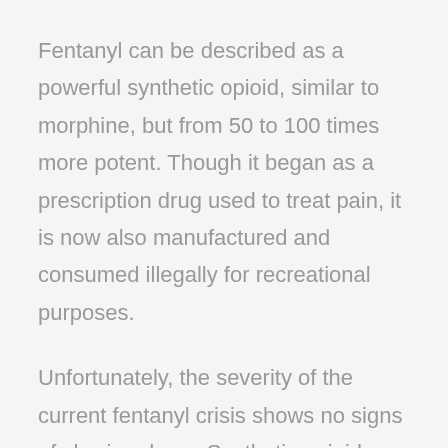Fentanyl can be described as a powerful synthetic opioid, similar to morphine, but from 50 to 100 times more potent. Though it began as a prescription drug used to treat pain, it is now also manufactured and consumed illegally for recreational purposes.
Unfortunately, the severity of the current fentanyl crisis shows no signs of slowing down. Synthetic opioids like fentanyl are said to be the most common substances that are involved in drug overdose deaths in the US. What makes the risk even greater is the fact that drug dealers often mix fentanyl with other substances like heroin or methamphetamine to save money, so you never truly know what you might be consuming when you purchase fentanyl.